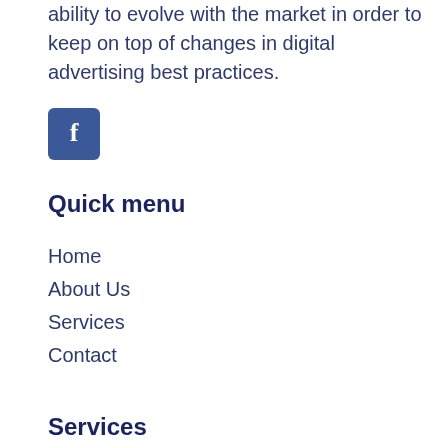ability to evolve with the market in order to keep on top of changes in digital advertising best practices.
[Figure (logo): Facebook icon: blue rounded square with white lowercase 'f']
Quick menu
Home
About Us
Services
Contact
Services